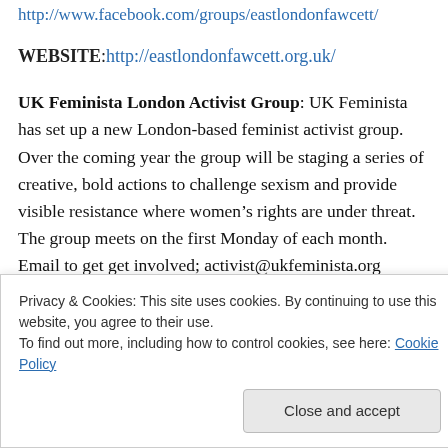http://www.facebook.com/groups/eastlondonfawcett/
WEBSITE: http://eastlondonfawcett.org.uk/
UK Feminista London Activist Group: UK Feminista has set up a new London-based feminist activist group. Over the coming year the group will be staging a series of creative, bold actions to challenge sexism and provide visible resistance where women's rights are under threat. The group meets on the first Monday of each month. Email to get get involved; activist@ukfeminista.org
MORE INFO: http://ukfeminista.bandcampaigning.com/take...
Privacy & Cookies: This site uses cookies. By continuing to use this website, you agree to their use.
To find out more, including how to control cookies, see here: Cookie Policy
Close and accept